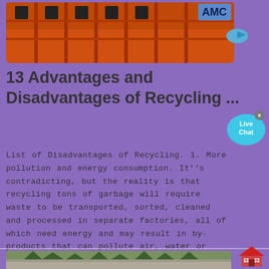[Figure (photo): Top portion of orange/red recycling crate with AMC logo/badge visible, on purple background]
13 Advantages and Disadvantages of Recycling ...
List of Disadvantages of Recycling. 1. More pollution and energy consumption. It''s contradicting, but the reality is that recycling tons of garbage will require waste to be transported, sorted, cleaned and processed in separate factories, all of which need energy and may result in by-products that can pollute air, water or soil.
[Figure (photo): Bottom image showing a quarry or rocky landscape with trees in the background]